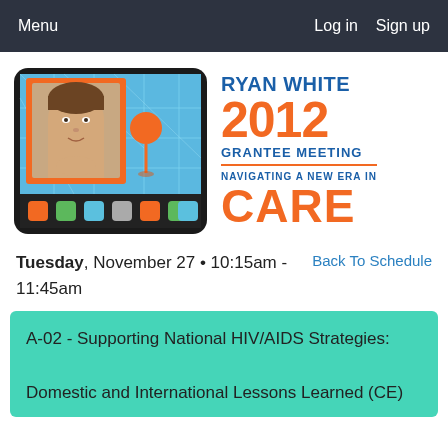Menu   Log in   Sign up
[Figure (illustration): Ryan White 2012 Grantee Meeting banner with tablet image on left showing a woman's photo in an orange frame with location pin icon; event title on right: RYAN WHITE 2012 GRANTEE MEETING NAVIGATING A NEW ERA IN CARE]
Tuesday, November 27 • 10:15am - 11:45am
Back To Schedule
A-02 - Supporting National HIV/AIDS Strategies: Domestic and International Lessons Learned (CE)